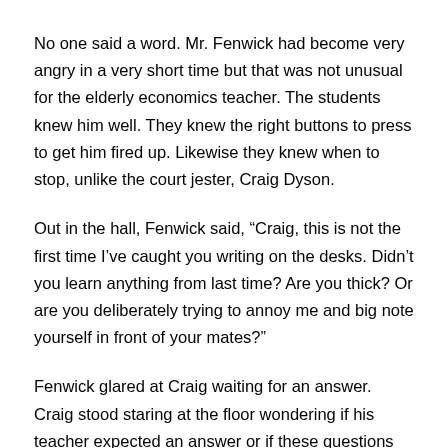No one said a word. Mr. Fenwick had become very angry in a very short time but that was not unusual for the elderly economics teacher. The students knew him well. They knew the right buttons to press to get him fired up. Likewise they knew when to stop, unlike the court jester, Craig Dyson.
Out in the hall, Fenwick said, “Craig, this is not the first time I’ve caught you writing on the desks. Didn’t you learn anything from last time? Are you thick? Or are you deliberately trying to annoy me and big note yourself in front of your mates?”
Fenwick glared at Craig waiting for an answer. Craig stood staring at the floor wondering if his teacher expected an answer or if these questions were rhetorical. Mr. Fenwick loved rhetorical questions. He scratched his head and began to wonder what Fenwick had to say.